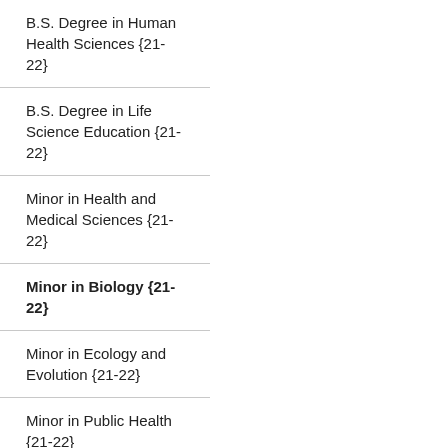B.S. Degree in Human Health Sciences {21-22}
B.S. Degree in Life Science Education {21-22}
Minor in Health and Medical Sciences {21-22}
Minor in Biology {21-22}
Minor in Ecology and Evolution {21-22}
Minor in Public Health {21-22}